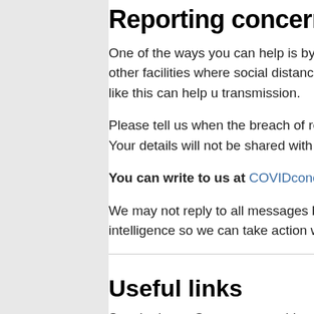Reporting concerns
One of the ways you can help is by reporting serious workplaces and other facilities where social distancing aren't being followed. Intelligence like this can help u transmission.
Please tell us when the breach of restrictions took pla the site if known. Your details will not be shared with telling us about.
You can write to us at COVIDconcern@milton-key
We may not reply to all messages but we will read th to gather intelligence so we can take action where ne
Useful links
See the latest Government guidance here gov.uk/cor